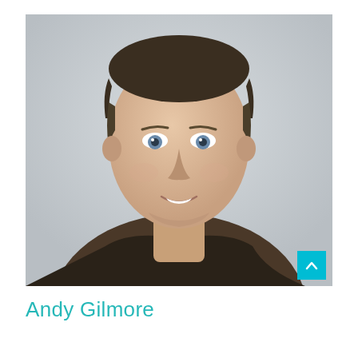[Figure (photo): Headshot of a middle-aged man with short dark hair, blue eyes, smiling, wearing a dark polo shirt, photographed against a light gray background.]
Andy Gilmore